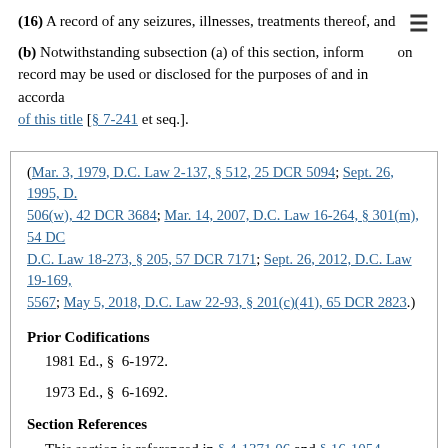(16) A record of any seizures, illnesses, treatments thereof, and
(b) Notwithstanding subsection (a) of this section, information on record may be used or disclosed for the purposes of and in accordance of this title [§ 7-241 et seq.].
(Mar. 3, 1979, D.C. Law 2-137, § 512, 25 DCR 5094; Sept. 26, 1995, D. 506(w), 42 DCR 3684; Mar. 14, 2007, D.C. Law 16-264, § 301(m), 54 DC D.C. Law 18-273, § 205, 57 DCR 7171; Sept. 26, 2012, D.C. Law 19-169, 5567; May 5, 2018, D.C. Law 22-93, § 201(c)(41), 65 DCR 2823.)
Prior Codifications
1981 Ed., §  6-1972.
1973 Ed., §  6-1692.
Section References
This section is referenced in § 4-1371.06 and § 16-1054.
Effect of Amendments